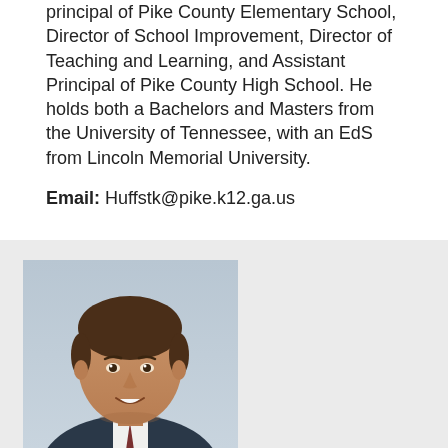principal of Pike County Elementary School, Director of School Improvement, Director of Teaching and Learning, and Assistant Principal of Pike County High School. He holds both a Bachelors and Masters from the University of Tennessee, with an EdS from Lincoln Memorial University.
Email: Huffstk@pike.k12.ga.us
[Figure (photo): Headshot photo of a man with dark hair, smiling, wearing a dark suit jacket, against a light blue-grey background.]